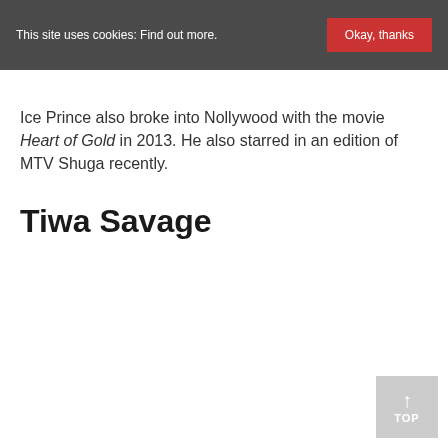This site uses cookies: Find out more.  Okay, thanks
Ice Prince also broke into Nollywood with the movie Heart of Gold in 2013. He also starred in an edition of MTV Shuga recently.
Tiwa Savage